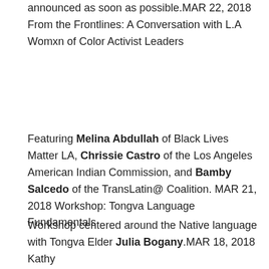This program has been postponed. New date will be announced as soon as possible.MAR 22, 2018 From the Frontlines: A Conversation with L.A Womxn of Color Activist Leaders
Featuring Melina Abdullah of Black Lives Matter LA, Chrissie Castro of the Los Angeles American Indian Commission, and Bamby Salcedo of the TransLatin@ Coalition. MAR 21, 2018 Workshop: Tongva Language Fundamentals
Workshop centered around the Native language with Tongva Elder Julia Bogany.MAR 18, 2018 Kathy